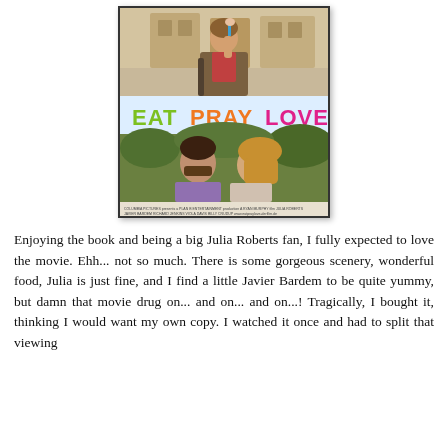[Figure (photo): Movie poster for 'Eat Pray Love' showing a person eating gelato at the top, large colorful title text in the middle (EAT in green, PRAY in orange, LOVE in pink/magenta), and two people nearly kissing at the bottom, with film credits at the very bottom.]
Enjoying the book and being a big Julia Roberts fan, I fully expected to love the movie. Ehh... not so much. There is some gorgeous scenery, wonderful food, Julia is just fine, and I find a little Javier Bardem to be quite yummy, but damn that movie drug on... and on... and on...! Tragically, I bought it, thinking I would want my own copy. I watched it once and had to split that viewing